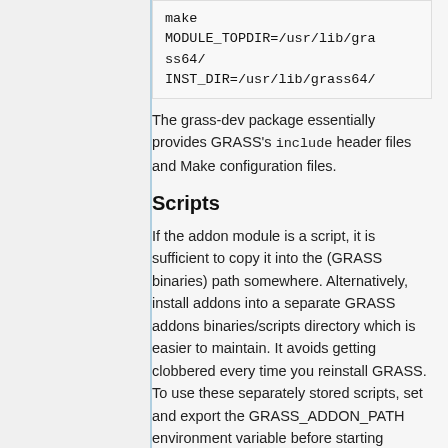make MODULE_TOPDIR=/usr/lib/grass64/ INST_DIR=/usr/lib/grass64/
The grass-dev package essentially provides GRASS's include header files and Make configuration files.
Scripts
If the addon module is a script, it is sufficient to copy it into the (GRASS binaries) path somewhere. Alternatively, install addons into a separate GRASS addons binaries/scripts directory which is easier to maintain. It avoids getting clobbered every time you reinstall GRASS. To use these separately stored scripts, set and export the GRASS_ADDON_PATH environment variable before starting GRASS and it